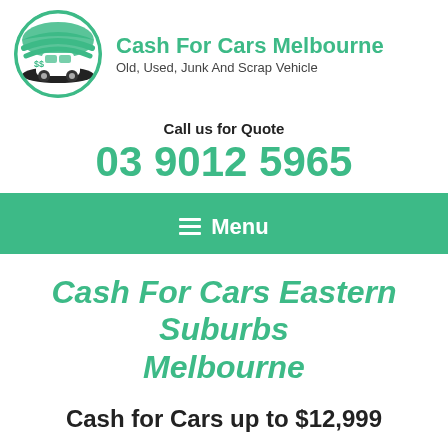[Figure (logo): Cash For Cars Melbourne circular logo with car and dollar sign graphic, teal/green and black colors]
Cash For Cars Melbourne
Old, Used, Junk And Scrap Vehicle
Call us for Quote
03 9012 5965
≡ Menu
Cash For Cars Eastern Suburbs Melbourne
Cash for Cars up to $12,999